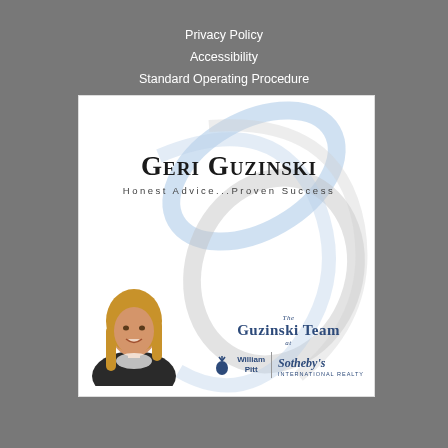Privacy Policy
Accessibility
Standard Operating Procedure
[Figure (logo): Geri Guzinski real estate logo with decorative G swirl, photo of agent, tagline 'Honest Advice...Proven Success', Guzinski Team at William Pitt Sotheby's International Realty branding]